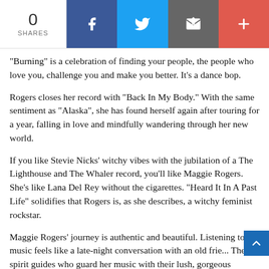0 SHARES | Facebook | Twitter | Email | More
“Burning” is a celebration of finding your people, the people who love you, challenge you and make you better. It’s a dance bop.
Rogers closes her record with “Back In My Body.” With the same sentiment as “Alaska”, she has found herself again after touring for a year, falling in love and mindfully wandering through her new world.
If you like Stevie Nicks’ witchy vibes with the jubilation of a The Lighthouse and The Whaler record, you’ll like Maggie Rogers. She’s like Lana Del Rey without the cigarettes. “Heard It In A Past Life” solidifies that Rogers is, as she describes, a witchy feminist rockstar.
Maggie Rogers’ journey is authentic and beautiful. Listening to her music feels like a late-night conversation with an old frie... The spirit guides who guard her music with their lush, gorgeous harmonies feel like they are somehow here protecting us too.